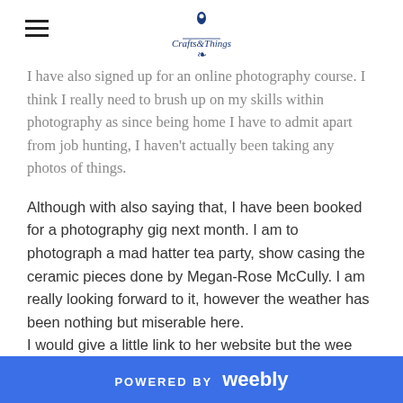[logo/navigation header]
I have also signed up for an online photography course. I think I really need to brush up on my skills within photography as since being home I have to admit apart from job hunting, I haven't actually been taking any photos of things.
Although with also saying that, I have been booked for a photography gig next month. I am to photograph a mad hatter tea party, show casing the ceramic pieces done by Megan-Rose McCully. I am really looking forward to it, however the weather has been nothing but miserable here.
I would give a little link to her website but the wee woman doesn't have one at the moment.
I am also looking back into creating some patterns, I think I have previously spoken about this I am a little unsure. I haven't yet done much although I have ideas coming out of
POWERED BY weebly